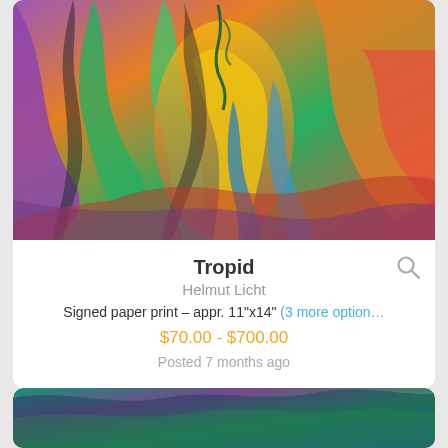[Figure (photo): Colorful psychedelic abstract artwork with tropical forest imagery in bright rainbow colors — painting titled Tropid by Helmut Licht]
Tropid
Helmut Licht
Signed paper print – appr. 11"x14" (3 more option…
$70.00 - $700.00
Posted 7 months ago
[Figure (photo): Partial view of another colorful abstract artwork at the bottom of the page]